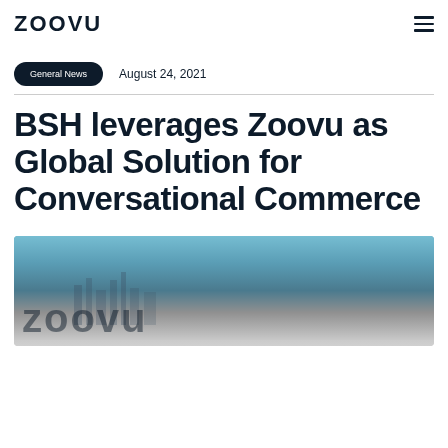ZOOVU
General News    August 24, 2021
BSH leverages Zoovu as Global Solution for Conversational Commerce
[Figure (photo): Hero image showing a city skyline with blue tones in the background and large 'zoovu' text overlay at the bottom left]